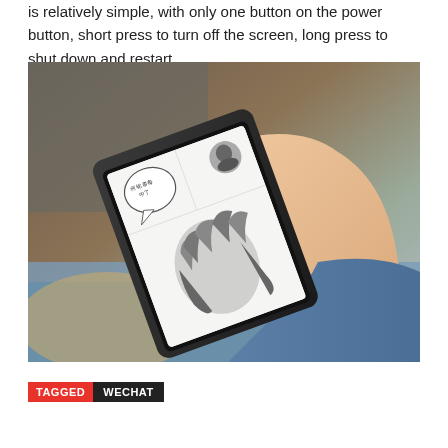is relatively simple, with only one button on the power button, short press to turn off the screen, long press to shut down and restart.
[Figure (photo): A hand holding a tablet/e-reader device displaying manga (Japanese comic) content with Chinese text in a speech bubble. The person is wearing a denim jacket and the background is blurred showing warm and cool tones.]
TAGGED WECHAT